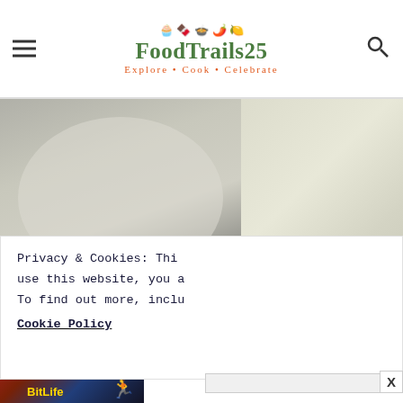[Figure (logo): FoodTrails25 website logo with food emoji icons (muffin, chocolate, bowl, pepper, lemon), text 'FoodTrails25' in green, tagline 'Explore • Cook • Celebrate' in orange, and navigation icons (hamburger menu, search)]
[Figure (photo): Two food photos side by side showing flour or rice in a dark bowl (left) and a close-up of white powdery/grainy substance (right)]
Privacy & Cookies: Thi
use this website, you a
To find out more, inclu
Cookie Policy
[Figure (screenshot): Ad banner for BitLife - Life Simulator game with colorful game screenshot on left and 'Install!' call to action on right]